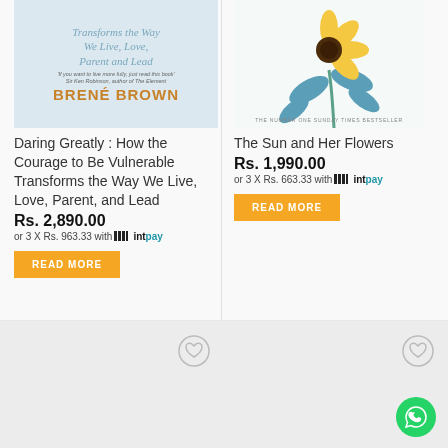[Figure (illustration): Book cover of Daring Greatly by Brene Brown, showing title text in teal/blue italic font and author name in bold orange]
[Figure (illustration): Book cover of The Sun and Her Flowers showing a yellow sunflower with teal/blue leaves on white background, labeled 'The Number One Sunday Times Bestseller']
Daring Greatly : How the Courage to Be Vulnerable Transforms the Way We Live, Love, Parent, and Lead
Rs. 2,890.00
or 3 X Rs. 963.33 with mintpay
READ MORE
The Sun and Her Flowers
Rs. 1,990.00
or 3 X Rs. 663.33 with mintpay
READ MORE